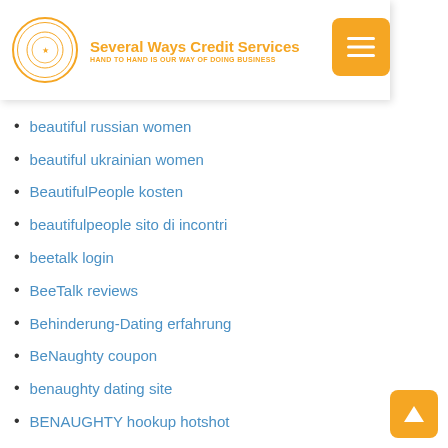Several Ways Credit Services — HAND TO HAND IS OUR WAY OF DOING BUSINESS
beautiful russian women
beautiful ukrainian women
BeautifulPeople kosten
beautifulpeople sito di incontri
beetalk login
BeeTalk reviews
Behinderung-Dating erfahrung
BeNaughty coupon
benaughty dating site
BENAUGHTY hookup hotshot
Benaughty reddit
best adult sites
Best Bad Credit In Alaska
best brides
best cbd
Best Cougar Dating Site
Best Custom Essay
Best Dating Site App
Best Dating Site For Herpes